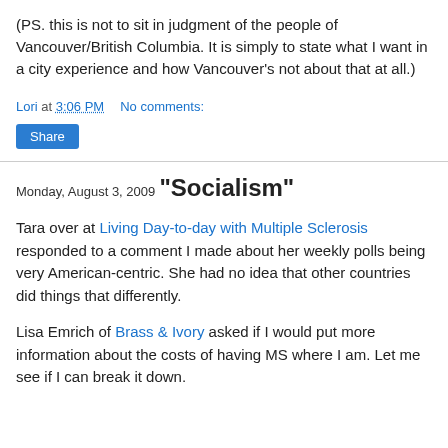(PS. this is not to sit in judgment of the people of Vancouver/British Columbia. It is simply to state what I want in a city experience and how Vancouver's not about that at all.)
Lori at 3:06 PM    No comments:
Share
Monday, August 3, 2009
"Socialism"
Tara over at Living Day-to-day with Multiple Sclerosis responded to a comment I made about her weekly polls being very American-centric. She had no idea that other countries did things that differently.
Lisa Emrich of Brass & Ivory asked if I would put more information about the costs of having MS where I am. Let me see if I can break it down.